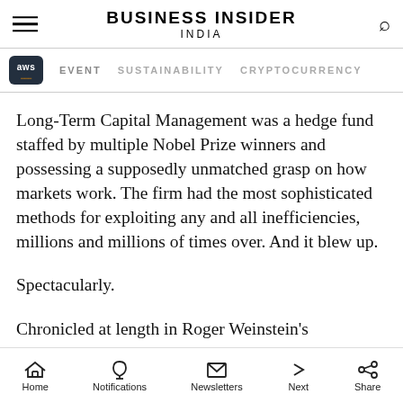BUSINESS INSIDER INDIA
Long-Term Capital Management was a hedge fund staffed by multiple Nobel Prize winners and possessing a supposedly unmatched grasp on how markets work. The firm had the most sophisticated methods for exploiting any and all inefficiencies, millions and millions of times over. And it blew up.
Spectacularly.
Chronicled at length in Roger Weinstein's
Home  Notifications  Newsletters  Next  Share